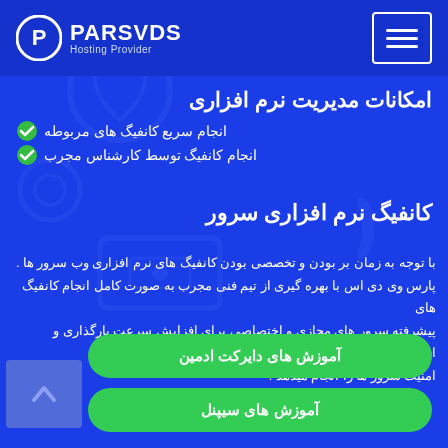[Figure (logo): PARSVDS Hosting Provider logo with circular P icon]
امکانات مدیریت نرم افزاری
انجام سریع کانفیگ های مربوطه
انجام کانفیگ توسط کارشناس مجرب
کانفیگ نرم افزاری سرور
با توجه به زمان بر بودن و تخصصی بودن کانفیگ های نرم افزاری وب سرور ها . پارس وی دی اس با بهره گیری از تیم فنی مجرب به صورت کامل انجام کانفیگ های پیشرفته سرور های مجازی و اختصاصی برای افزایش سرعت بارگذاری و افزایش امنیت سرور ها را انجام میدهد .
آموزش های دایرکت ادمین
آموزش های سیپنل